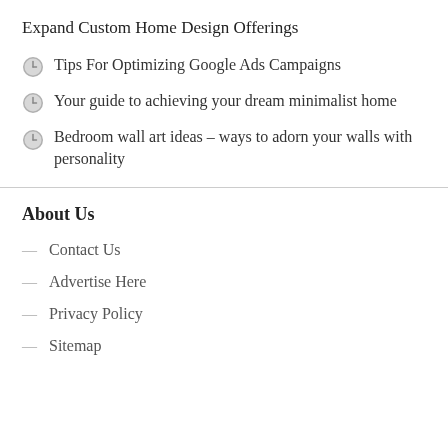Expand Custom Home Design Offerings
Tips For Optimizing Google Ads Campaigns
Your guide to achieving your dream minimalist home
Bedroom wall art ideas – ways to adorn your walls with personality
About Us
Contact Us
Advertise Here
Privacy Policy
Sitemap